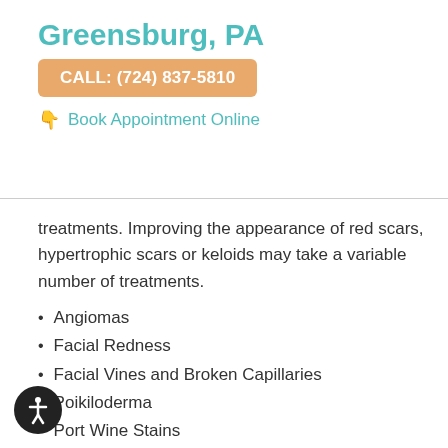Greensburg, PA
CALL: (724) 837-5810
Book Appointment Online
treatments. Improving the appearance of red scars, hypertrophic scars or keloids may take a variable number of treatments.
Angiomas
Facial Redness
Facial Vines and Broken Capillaries
Poikiloderma
Port Wine Stains
Rosacea
Scars
Stretch Marks